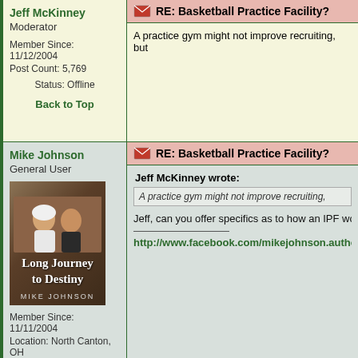Jeff McKinney
Moderator
Member Since: 11/12/2004
Post Count: 5,769
Status: Offline
Back to Top
RE: Basketball Practice Facility?
A practice gym might not improve recruiting, but
Mike Johnson
General User
Member Since: 11/11/2004
Location: North Canton, OH
Post Count: 1,629
Status: Offline
RE: Basketball Practice Facility?
Jeff McKinney wrote:
A practice gym might not improve recruiting,
Jeff, can you offer specifics as to how an IPF wo
http://www.facebook.com/mikejohnson.autho